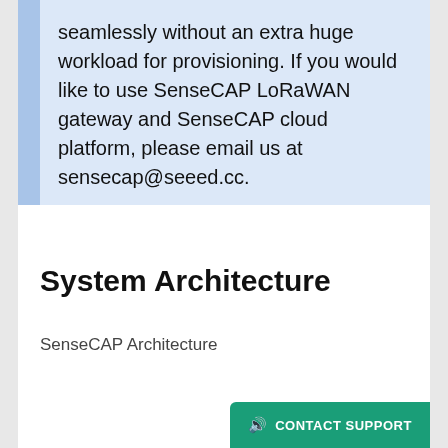seamlessly without an extra huge workload for provisioning. If you would like to use SenseCAP LoRaWAN gateway and SenseCAP cloud platform, please email us at sensecap@seeed.cc.
System Architecture
SenseCAP Architecture